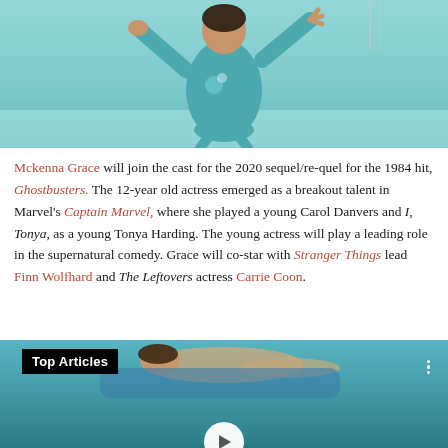[Figure (photo): A young girl in a teal/turquoise ice skating outfit with floral embroidery on the chest, arms outstretched while skating on an ice rink.]
Mckenna Grace will join the cast for the 2020 sequel/re-quel for the 1984 hit, Ghostbusters. The 12-year old actress emerged as a breakout talent in Marvel's Captain Marvel, where she played a young Carol Danvers and I, Tonya, as a young Tonya Harding. The young actress will play a leading role in the supernatural comedy. Grace will co-star with Stranger Things lead Finn Wolfhard and The Leftovers actress Carrie Coon.
[Figure (photo): A swimmer in a pool with a teal background, partially visible. A 'Top Articles' label in a black box is overlaid in the bottom-left area of the image, and three vertical dots appear on the right side. A white circular play button is partially visible at the bottom center.]